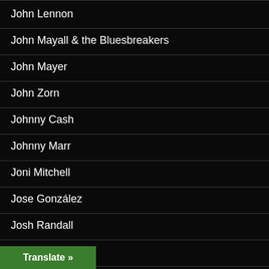John Lennon
John Mayall & the Bluesbreakers
John Mayer
John Zorn
Johnny Cash
Johnny Marr
Joni Mitchell
Jose González
Josh Randall
Joy Division
Judas Priest
Julia Holt (partial)
Translate »